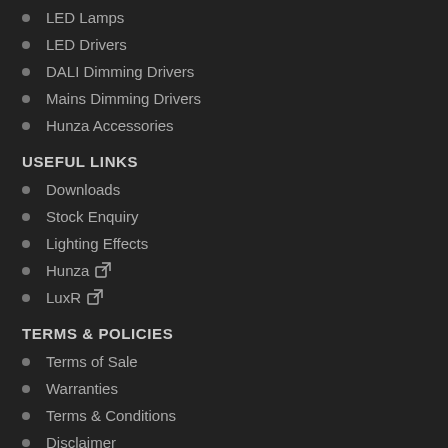LED Lamps
LED Drivers
DALI Dimming Drivers
Mains Dimming Drivers
Hunza Accessories
USEFUL LINKS
Downloads
Stock Enquiry
Lighting Effects
Hunza ↗
LuxR ↗
TERMS & POLICIES
Terms of Sale
Warranties
Terms & Conditions
Disclaimer